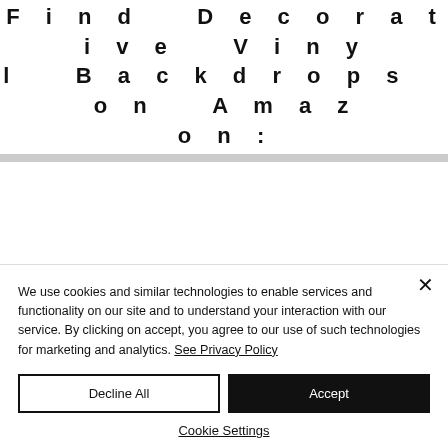Find Decorative Vinyl Backdrops on Amazon:
We use cookies and similar technologies to enable services and functionality on our site and to understand your interaction with our service. By clicking on accept, you agree to our use of such technologies for marketing and analytics. See Privacy Policy
Decline All
Accept
Cookie Settings